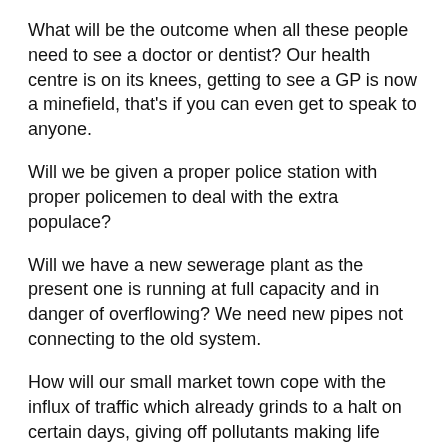What will be the outcome when all these people need to see a doctor or dentist? Our health centre is on its knees, getting to see a GP is now a minefield, that's if you can even get to speak to anyone.
Will we be given a proper police station with proper policemen to deal with the extra populace?
Will we have a new sewerage plant as the present one is running at full capacity and in danger of overflowing? We need new pipes not connecting to the old system.
How will our small market town cope with the influx of traffic which already grinds to a halt on certain days, giving off pollutants making life miserable for those living close by?
How many of these new builds will be affordable